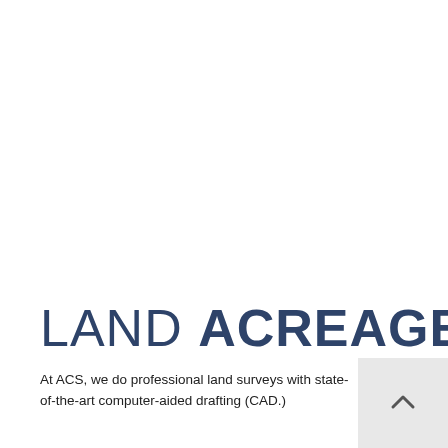LAND ACREAGE SURVEYS
At ACS, we do professional land surveys with state-of-the-art computer-aided drafting (CAD.)
We work with a diverse number of sectors, including homeowners